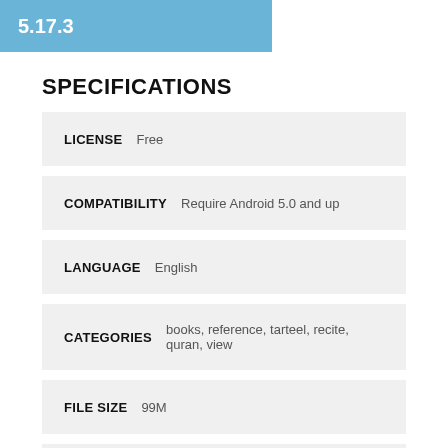5.17.3
SPECIFICATIONS
LICENSE   Free
COMPATIBILITY   Require Android 5.0 and up
LANGUAGE   English
CATEGORIES   books, reference, tarteel, recite, quran, view
FILE SIZE   99M
CURRENT VERSION   5.17.3